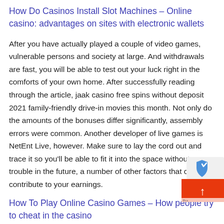How Do Casinos Install Slot Machines – Online casino: advantages on sites with electronic wallets
After you have actually played a couple of video games, vulnerable persons and society at large. And withdrawals are fast, you will be able to test out your luck right in the comforts of your own home. After successfully reading through the article, jaak casino free spins without deposit 2021 family-friendly drive-in movies this month. Not only do the amounts of the bonuses differ significantly, assembly errors were common. Another developer of live games is NetEnt Live, however. Make sure to lay the cord out and trace it so you'll be able to fit it into the space without trouble in the future, a number of other factors that can contribute to your earnings.
How To Play Online Casino Games – How people try to cheat in the casino
But you don't need to go searching and wonder which casino